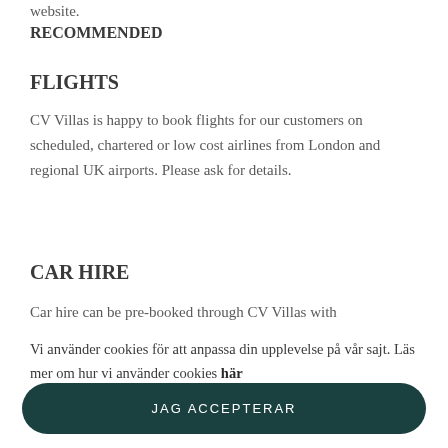website.
RECOMMENDED
FLIGHTS
CV Villas is happy to book flights for our customers on scheduled, chartered or low cost airlines from London and regional UK airports. Please ask for details.
CAR HIRE
Car hire can be pre-booked through CV Villas with
Vi använder cookies för att anpassa din upplevelse på vår sajt. Läs mer om hur vi använder cookies här
JAG ACCEPTERAR